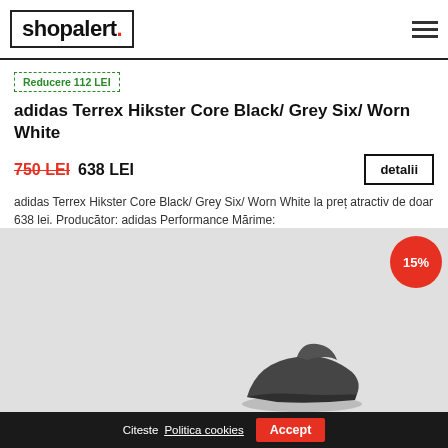shopalert.
Reducere 112 LEI
adidas Terrex Hikster Core Black/ Grey Six/ Worn White
750 LEI  638 LEI
detalii
adidas Terrex Hikster Core Black/ Grey Six/ Worn White la preț atractiv de doar 638 lei. Producător: adidas Performance Mărime:
[Figure (photo): Product photo of adidas Terrex Hikster shoe, dark/black colorway, partially visible at the bottom of the page. A red circle badge with '15%' is overlaid in the top-right of the image area.]
Citeste Politica cookies  Accept